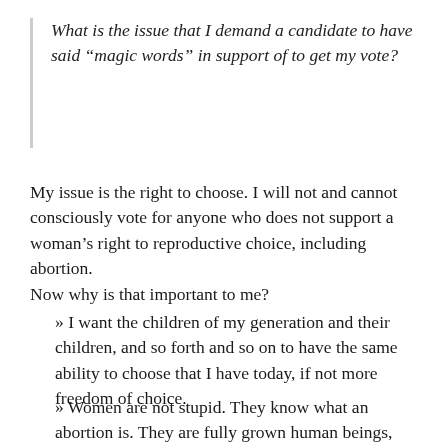What is the issue that I demand a candidate to have said “magic words” in support of to get my vote?
My issue is the right to choose. I will not and cannot consciously vote for anyone who does not support a woman’s right to reproductive choice, including abortion.
Now why is that important to me?
» I want the children of my generation and their children, and so forth and so on to have the same ability to choose that I have today, if not more freedom of choice.
» Women are not stupid. They know what an abortion is. They are fully grown human beings, capable of deciding whether the circumstances are